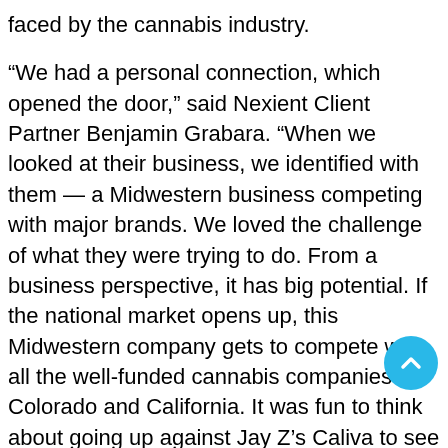faced by the cannabis industry.
“We had a personal connection, which opened the door,” said Nexient Client Partner Benjamin Grabara. “When we looked at their business, we identified with them — a Midwestern business competing with major brands. We loved the challenge of what they were trying to do. From a business perspective, it has big potential. If the national market opens up, this Midwestern company gets to compete with all the well-funded cannabis companies in Colorado and California. It was fun to think about going up against Jay Z’s Caliva to see what kind of experience we could create.”
The cannabis company had both online sales and physical stores in cities across the state. The Nexient team approached the situation as an e-commerce